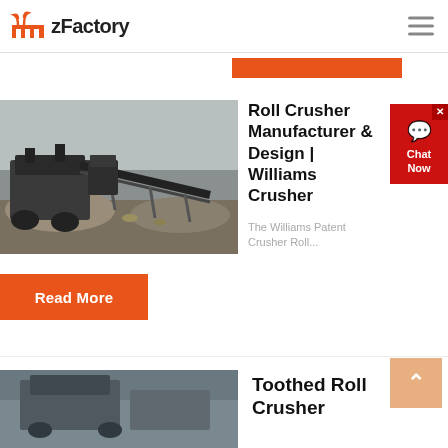zFactory
[Figure (photo): Industrial roll crusher machinery at a mining/quarrying site with conveyor belt and rock piles, grayscale photo]
Roll Crusher Manufacturer & Design | Williams Crusher
The Williams Patent Crusher Roll...
Read More
Toothed Roll Crusher
[Figure (photo): Industrial toothed roll crusher machinery, partial view at bottom of page]